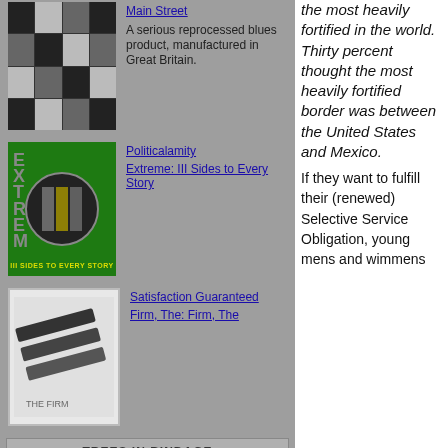[Figure (photo): Thumbnail of Rolling Stones Main Street album – mosaic of black and white photos]
Main Street
A serious reprocessed blues product, manufactured in Great Britain.
[Figure (photo): Thumbnail of Extreme III Sides to Every Story album cover – green background with circle and face]
Politicalamity
Extreme: III Sides to Every Story
[Figure (photo): Thumbnail of The Firm soundtrack cover]
Satisfaction Guaranteed
Firm, The: Firm, The
TREES IN BINDAGE
[Figure (photo): Thumbnail of Flyboys movie – dark sky with silhouette of biplane, text FLYBOYS]
James Bradley: Flyboys: A True Story of Courage
the most heavily fortified in the world. Thirty percent thought the most heavily fortified border was between the United States and Mexico.
If they want to fulfill their (renewed) Selective Service Obligation, young mens and wimmens